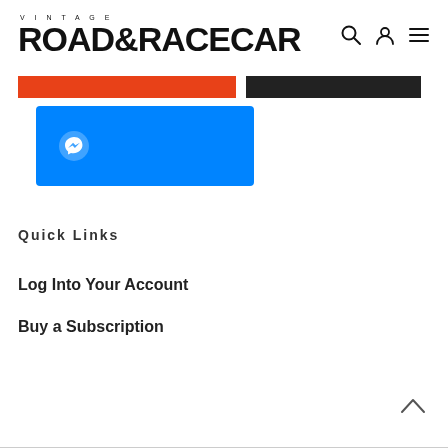VINTAGE ROAD&RACECAR
[Figure (other): Orange button/banner bar]
[Figure (other): Dark/black button/banner bar]
[Figure (other): Blue Facebook Messenger button with messenger icon]
Quick Links
Log Into Your Account
Buy a Subscription